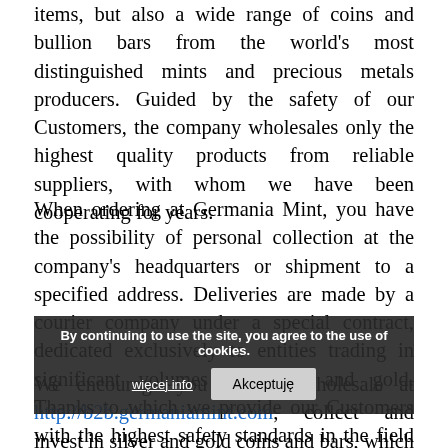items, but also a wide range of coins and bullion bars from the world's most distinguished mints and precious metals producers. Guided by the safety of our Customers, the company wholesales only the highest quality products from reliable suppliers, with whom we have been cooperating for years.
When ordering at Germania Mint, you have the possibility of personal collection at the company's headquarters or shipment to a specified address. Deliveries are made by a courier company under a special contract, dedicated exclusively to entities trading in significant volumes of silver and gold. Thanks to which we provide our Customers with the highest safety standards in the field of precious metals shipping.
We encourage you to buy wholesale at http://b2b.germaniamint.com, collect and invest in silver and gold coins and bars, which have always been the safest form of investment.